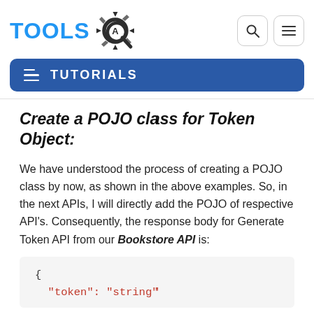TOOLS [logo] | Search | Menu
TUTORIALS
Create a POJO class for Token Object:
We have understood the process of creating a POJO class by now, as shown in the above examples. So, in the next APIs, I will directly add the POJO of respective API's. Consequently, the response body for Generate Token API from our Bookstore API is:
{
  "token": "string"